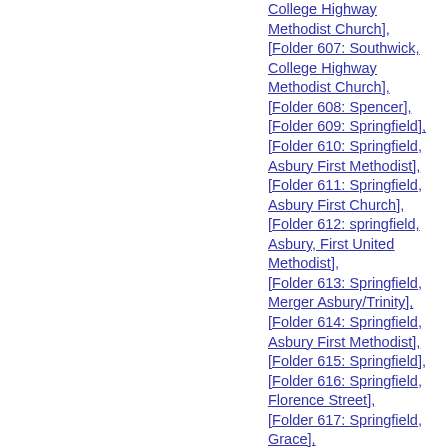College Highway Methodist Church], [Folder 607: Southwick, College Highway Methodist Church], [Folder 608: Spencer], [Folder 609: Springfield], [Folder 610: Springfield, Asbury First Methodist], [Folder 611: Springfield, Asbury First Church], [Folder 612: springfield, Asbury, First United Methodist], [Folder 613: Springfield, Merger Asbury/Trinity], [Folder 614: Springfield, Asbury First Methodist], [Folder 615: Springfield], [Folder 616: Springfield, Florence Street], [Folder 617: Springfield, Grace], [Folder 618: Springfield, Liberty Church], [Folder 619: Springfield,